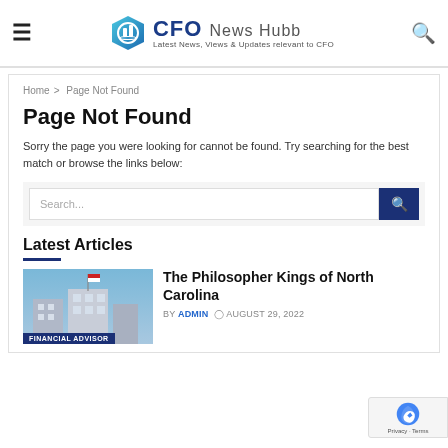CFO News Hubb — Latest News, Views & Updates relevant to CFO
Home > Page Not Found
Page Not Found
Sorry the page you were looking for cannot be found. Try searching for the best match or browse the links below:
Latest Articles
[Figure (photo): Building exterior with flag, article thumbnail for 'The Philosopher Kings of North Carolina']
The Philosopher Kings of North Carolina
BY ADMIN  AUGUST 29, 2022